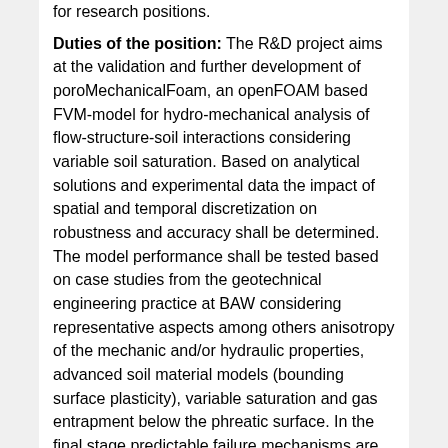for research positions.
Duties of the position: The R&D project aims at the validation and further development of poroMechanicalFoam, an openFOAM based FVM-model for hydro-mechanical analysis of flow-structure-soil interactions considering variable soil saturation. Based on analytical solutions and experimental data the impact of spatial and temporal discretization on robustness and accuracy shall be determined. The model performance shall be tested based on case studies from the geotechnical engineering practice at BAW considering representative aspects among others anisotropy of the mechanic and/or hydraulic properties, advanced soil material models (bounding surface plasticity), variable saturation and gas entrapment below the phreatic surface. In the final stage predictable failure mechanisms are to be addressed within the framework of the second order work concept. If desired, there is possibility for laboratory tests for characterization of soil properties and or/ identification